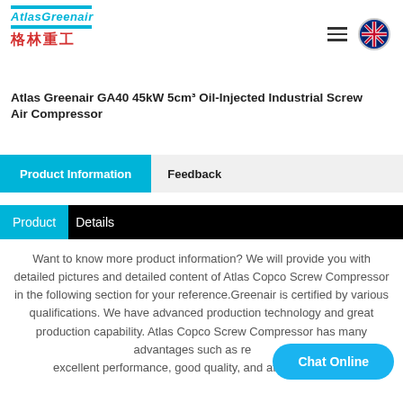AtlasGreenair 格林重工
Atlas Greenair GA40 45kW 5cm³ Oil-Injected Industrial Screw Air Compressor
Product Information | Feedback
Product Details
Want to know more product information? We will provide you with detailed pictures and detailed content of Atlas Copco Screw Compressor in the following section for your reference. Greenair is certified by various qualifications. We have advanced production technology and great production capability. Atlas Copco Screw Compressor has many advantages such as r... excellent performance, good quality, and affordable price.